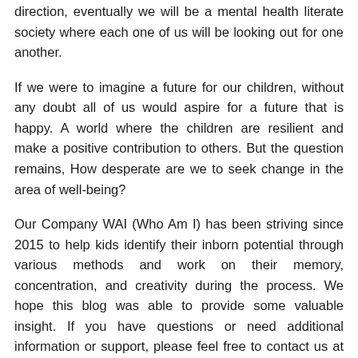direction, eventually we will be a mental health literate society where each one of us will be looking out for one another.
If we were to imagine a future for our children, without any doubt all of us would aspire for a future that is happy. A world where the children are resilient and make a positive contribution to others. But the question remains, How desperate are we to seek change in the area of well-being?
Our Company WAI (Who Am I) has been striving since 2015 to help kids identify their inborn potential through various methods and work on their memory, concentration, and creativity during the process. We hope this blog was able to provide some valuable insight. If you have questions or need additional information or support, please feel free to contact us at info@wai.guru.